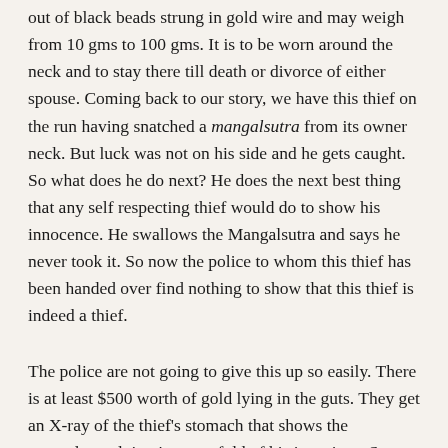out of black beads strung in gold wire and may weigh from 10 gms to 100 gms. It is to be worn around the neck and to stay there till death or divorce of either spouse. Coming back to our story, we have this thief on the run having snatched a mangalsutra from its owner neck. But luck was not on his side and he gets caught. So what does he do next? He does the next best thing that any self respecting thief would do to show his innocence. He swallows the Mangalsutra and says he never took it. So now the police to whom this thief has been handed over find nothing to show that this thief is indeed a thief.
The police are not going to give this up so easily. There is at least $500 worth of gold lying in the guts. They get an X-ray of the thief's stomach that shows the mangalsutra lying in some fold of his intestines. So how does one get this thief and also save a marriage? Our smart sleuths hit upon a brilliant idea. They feed our thief bananas and then lie in wait.